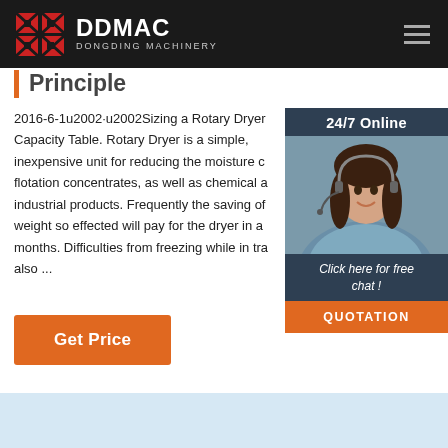DDMAC DONGDING MACHINERY
Principle
2016-6-1u2002·u2002Sizing a Rotary Dryer Capacity Table. Rotary Dryer is a simple, inexpensive unit for reducing the moisture content of flotation concentrates, as well as chemical and industrial products. Frequently the saving of weight so effected will pay for the dryer in a few months. Difficulties from freezing while in transit are also ...
[Figure (photo): Customer service agent with headset smiling, with 24/7 Online label and chat/quotation sidebar widget]
Get Price
[Figure (other): Light blue-gray bottom section area]